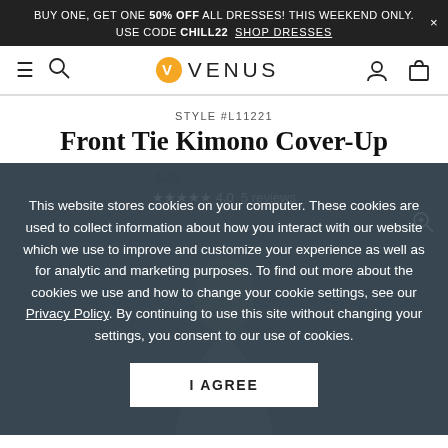BUY ONE, GET ONE 50% OFF ALL DRESSES! THIS WEEKEND ONLY. × USE CODE CHILL22 SHOP DRESSES
[Figure (screenshot): Venus fashion retail website navigation bar with hamburger menu, search icon, Venus logo with gold V icon, user account icon, and shopping bag icon]
STYLE #L11221
Front Tie Kimono Cover-Up
$49 On Sale $29.99
4.0 5 reviews
This website stores cookies on your computer. These cookies are used to collect information about how you interact with our website which we use to improve and customize your experience as well as for analytic and marketing purposes. To find out more about the cookies we use and how to change your cookie settings, see our Privacy Policy. By continuing to use this site without changing your settings, you consent to our use of cookies.
I AGREE